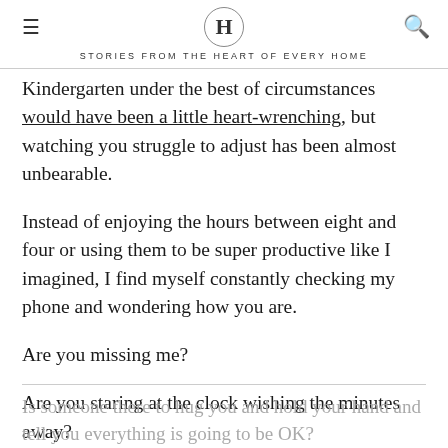H — STORIES FROM THE HEART OF EVERY HOME
Kindergarten under the best of circumstances would have been a little heart-wrenching, but watching you struggle to adjust has been almost unbearable.
Instead of enjoying the hours between eight and four or using them to be super productive like I imagined, I find myself constantly checking my phone and wondering how you are.
Are you missing me?
Are you staring at the clock wishing the minutes away?
Is someone there to hug you and hold your hand and tell you everything is going to be OK?